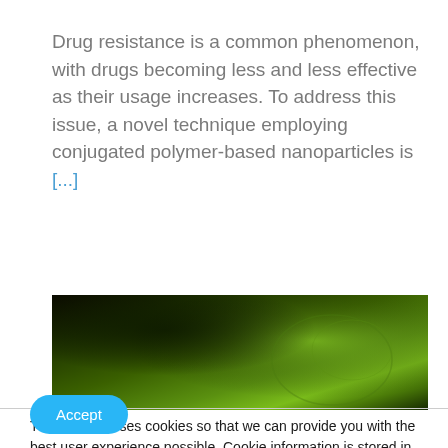Drug resistance is a common phenomenon, with drugs becoming less and less effective as their usage increases. To address this issue, a novel technique employing conjugated polymer-based nanoparticles is [...]
[Figure (photo): Close-up photo showing green fluorescent nanoparticles or biological material with dark background, likely a microscopy or UV-illuminated image.]
This website uses cookies so that we can provide you with the best user experience possible. Cookie information is stored in your browser and performs functions such as recognizing you when you return to our website and helping our team to understand which sections of the website you find most interesting and useful. NanoApps Medical Inc. Cookie Policy